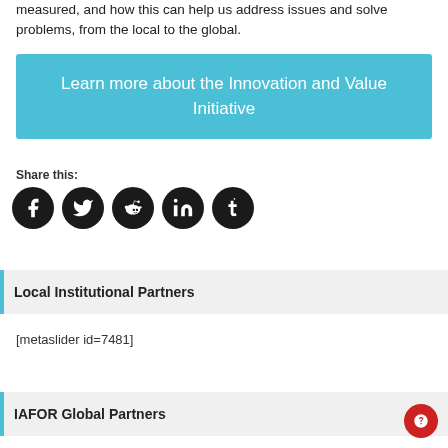measured, and how this can help us address issues and solve problems, from the local to the global.
Learn more about the Innovation and Value Initiative
Share this:
[Figure (other): Social media share icons: Facebook, Twitter, Reddit, LinkedIn, Tumblr — dark circular buttons]
Local Institutional Partners
[metaslider id=7481]
IAFOR Global Partners